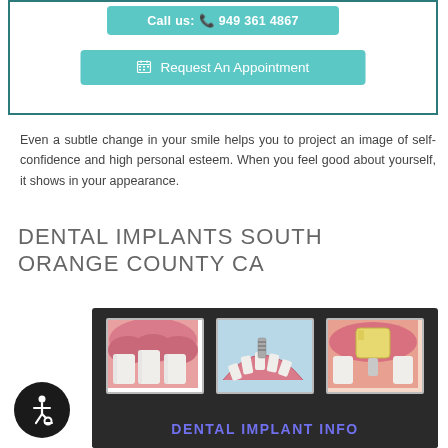[Figure (screenshot): Teal call button partially visible at top: 'Call us: 949 361 4867']
[Figure (screenshot): Teal 'Request An Appointment' button with calendar icon inside a bordered box]
Even a subtle change in your smile helps you to project an image of self-confidence and high personal esteem. When you feel good about yourself, it shows in your appearance.
DENTAL IMPLANTS SOUTH ORANGE COUNTY CA
[Figure (illustration): Dark banner with three framed dental illustration images (gum/teeth cross-sections) and bold purple text 'DENTAL IMPLANT INFO' at the bottom]
[Figure (illustration): Accessibility icon: white wheelchair symbol on dark circular background, bottom left corner]